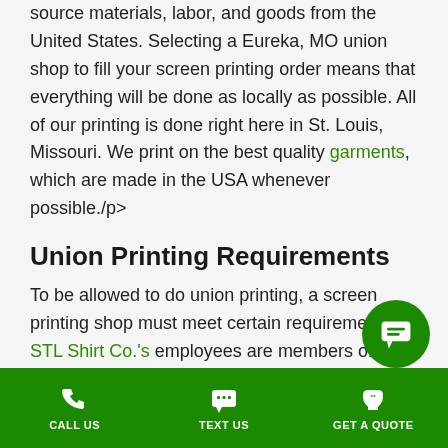source materials, labor, and goods from the United States. Selecting a Eureka, MO union shop to fill your screen printing order means that everything will be done as locally as possible. All of our printing is done right here in St. Louis, Missouri. We print on the best quality garments, which are made in the USA whenever possible./p>
Union Printing Requirements
To be allowed to do union printing, a screen printing shop must meet certain requirements. STL Shirt Co.'s employees are members of the Communications Workers of America (CWA) Allied Printing Union Local 630, which allows our screen printing shop to do work for unions in
[Figure (other): Green circular chat bubble / messaging widget button in bottom right]
CALL US | TEXT US | GET A QUOTE